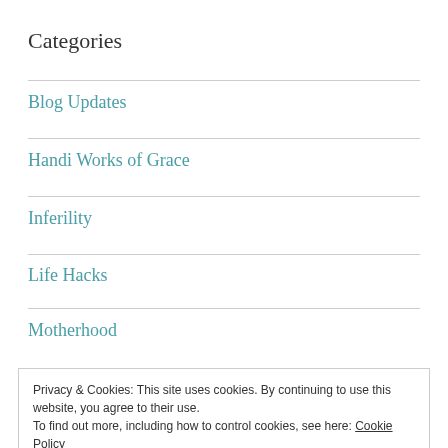Categories
Blog Updates
Handi Works of Grace
Inferility
Life Hacks
Motherhood
Privacy & Cookies: This site uses cookies. By continuing to use this website, you agree to their use.
To find out more, including how to control cookies, see here: Cookie Policy
[Close and accept]